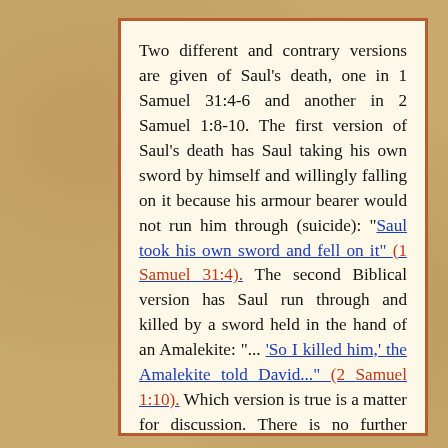Two different and contrary versions are given of Saul's death, one in 1 Samuel 31:4-6 and another in 2 Samuel 1:8-10. The first version of Saul's death has Saul taking his own sword by himself and willingly falling on it because his armour bearer would not run him through (suicide): "Saul took his own sword and fell on it" (1 Samuel 31:4). The second Biblical version has Saul run through and killed by a sword held in the hand of an Amalekite: "... 'So I killed him,' the Amalekite told David..." (2 Samuel 1:10). Which version is true is a matter for discussion. There is no further mention of the Amalekite's claim in the Bible, no denial of its authenticity or otherwise, and it